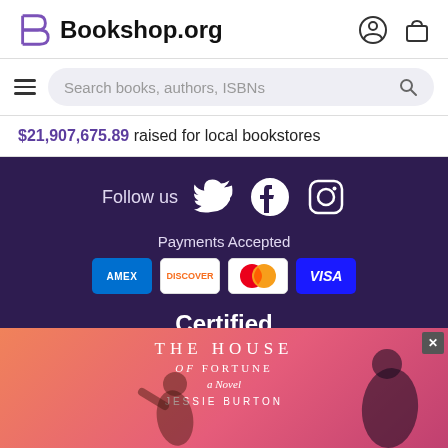Bookshop.org
Search books, authors, ISBNs
$21,907,675.89 raised for local bookstores
Follow us
Payments Accepted
Certified
[Figure (screenshot): Ad banner for 'The House of Fortune - A Novel by Jessie Burton' with gradient orange-pink background, showing partial book cover art with silhouetted figures]
THE HOUSE OF FORTUNE a Novel JESSIE BURTON